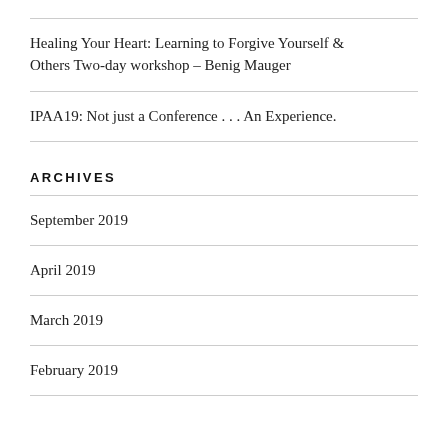Healing Your Heart: Learning to Forgive Yourself & Others Two-day workshop – Benig Mauger
IPAA19: Not just a Conference . . . An Experience.
ARCHIVES
September 2019
April 2019
March 2019
February 2019